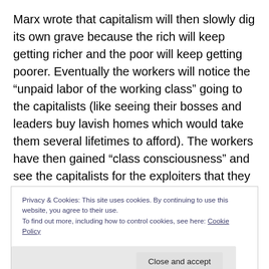Marx wrote that capitalism will then slowly dig its own grave because the rich will keep getting richer and the poor will keep getting poorer. Eventually the workers will notice the “unpaid labor of the working class” going to the capitalists (like seeing their bosses and leaders buy lavish homes which would take them several lifetimes to afford). The workers have then gained “class consciousness” and see the capitalists for the exploiters that they are. This is when they take back the fruits of their labor and achieve socialism through revolution.
Privacy & Cookies: This site uses cookies. By continuing to use this website, you agree to their use.
To find out more, including how to control cookies, see here: Cookie Policy
Close and accept
(partial bottom text, cut off)